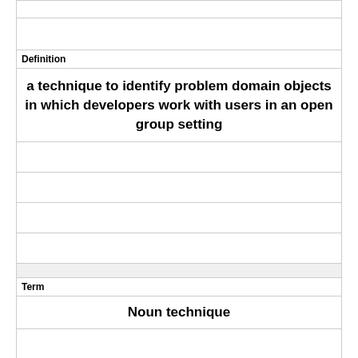|  |
|  |
| Definition |
| a technique to identify problem domain objects in which developers work with users in an open group setting |
|  |
|  |
|  |
|  |
| Term |
| Noun technique |
|  |
|  |
|  |